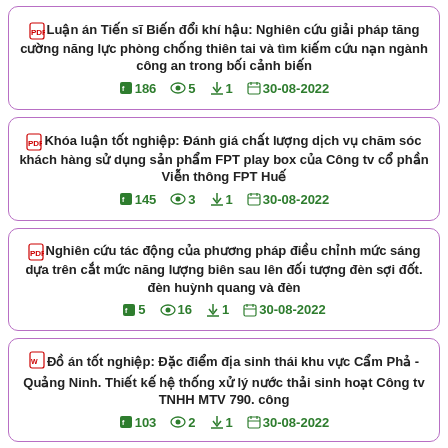Luận án Tiến sĩ Biến đổi khí hậu: Nghiên cứu giải pháp tăng cường năng lực phòng chống thiên tai và tìm kiếm cứu nạn ngành công an trong bối cảnh biến | 186 views:5 downloads:1 30-08-2022
Khóa luận tốt nghiệp: Đánh giá chất lượng dịch vụ chăm sóc khách hàng sử dụng sản phẩm FPT play box của Công ty cổ phần Viễn thông FPT Huế | 145 views:3 downloads:1 30-08-2022
Nghiên cứu tác động của phương pháp điều chỉnh mức sáng dựa trên cắt mức năng lượng biên sau lên đối tượng đèn sợi đốt. đèn huỳnh quang và đèn | 5 views:16 downloads:1 30-08-2022
Đồ án tốt nghiệp: Đặc điểm địa sinh thái khu vực Cẩm Phả - Quảng Ninh. Thiết kế hệ thống xử lý nước thải sinh hoạt Công ty TNHH MTV 790. công | 103 views:2 downloads:1 30-08-2022